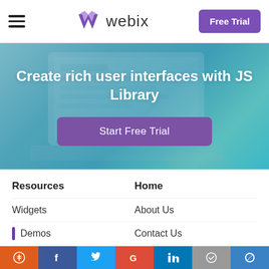Webix - Free Trial navigation bar
[Figure (screenshot): Hero banner with laptop in background and teal/blue gradient overlay]
Create rich user interfaces with JS Library
Start Free Trial
Resources
Home
Widgets
About Us
Demos
Contact Us
Integrations
Resellers